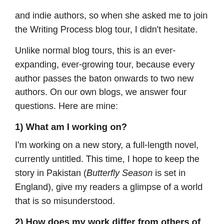and indie authors, so when she asked me to join the Writing Process blog tour, I didn’t hesitate.
Unlike normal blog tours, this is an ever-expanding, ever-growing tour, because every author passes the baton onwards to two new authors. On our own blogs, we answer four questions. Here are mine:
1) What am I working on?
I’m working on a new story, a full-length novel, currently untitled. This time, I hope to keep the story in Pakistan (Butterfly Season is set in England), give my readers a glimpse of a world that is so misunderstood.
2) How does my work differ from others of its genre?
It’s set in Pakistan. There are occasionally English